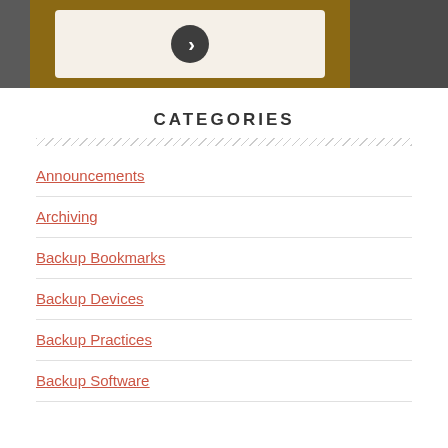[Figure (screenshot): Top portion showing a golden/brown framed box with a cream-colored inner panel containing a dark circular arrow/chevron button, with blurred dark background on sides]
CATEGORIES
Announcements
Archiving
Backup Bookmarks
Backup Devices
Backup Practices
Backup Software